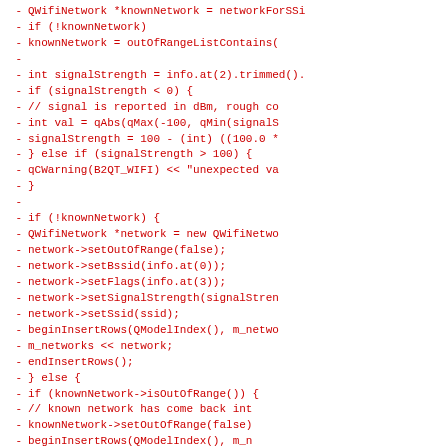Code diff showing deleted lines of C++ WiFi network scanning code
-         QWifiNetwork *knownNetwork = networkForSsi
-         if (!knownNetwork)
-             knownNetwork = outOfRangeListContains(
-
-         int signalStrength = info.at(2).trimmed().
-         if (signalStrength < 0) {
-             // signal is reported in dBm, rough co
-             int val = qAbs(qMax(-100, qMin(signalS
-             signalStrength = 100 - (int) ((100.0 *
-         } else if (signalStrength > 100) {
-             qCWarning(B2QT_WIFI) << "unexpected va
-         }
-
-         if (!knownNetwork) {
-             QWifiNetwork *network = new QWifiNetwo
-             network->setOutOfRange(false);
-             network->setBssid(info.at(0));
-             network->setFlags(info.at(3));
-             network->setSignalStrength(signalStren
-             network->setSsid(ssid);
-             beginInsertRows(QModelIndex(), m_netwo
-             m_networks << network;
-             endInsertRows();
-         } else {
-             if (knownNetwork->isOutOfRange()) {
-                 // known network has come back int
-                 knownNetwork->setOutOfRange(false)
-                 beginInsertRows(QModelIndex(), m_n
-                 m_networks << knownNetwork;
-                 endInsertRows();
-                 pos = m_networks.length() - 1;